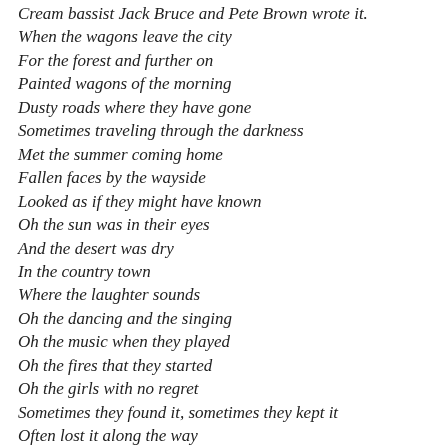Cream bassist Jack Bruce and Pete Brown wrote it.
When the wagons leave the city
For the forest and further on
Painted wagons of the morning
Dusty roads where they have gone
Sometimes traveling through the darkness
Met the summer coming home
Fallen faces by the wayside
Looked as if they might have known
Oh the sun was in their eyes
And the desert was dry
In the country town
Where the laughter sounds
Oh the dancing and the singing
Oh the music when they played
Oh the fires that they started
Oh the girls with no regret
Sometimes they found it, sometimes they kept it
Often lost it along the way